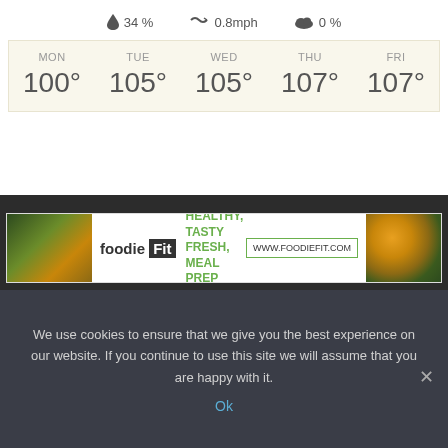34 %   0.8mph   0 %
| MON | TUE | WED | THU | FRI |
| --- | --- | --- | --- | --- |
| 100° | 105° | 105° | 107° | 107° |
[Figure (screenshot): FoodieFit advertisement banner: healthy, tasty fresh, meal prep. www.foodiefit.com]
[Figure (infographic): Social media icons row: Facebook, Instagram, Pinterest, Twitter, YouTube]
We use cookies to ensure that we give you the best experience on our website. If you continue to use this site we will assume that you are happy with it.
Ok